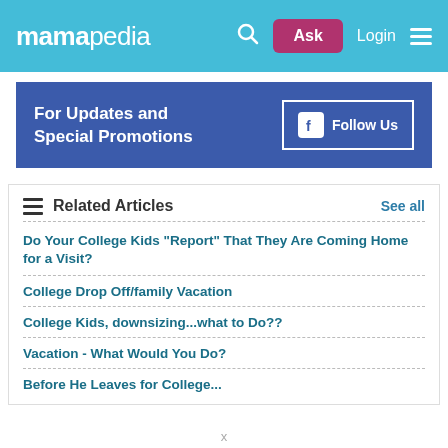mamapedia — Ask | Login
[Figure (infographic): Blue banner with text 'For Updates and Special Promotions' and a Facebook Follow Us button]
Related Articles — See all
Do Your College Kids "Report" That They Are Coming Home for a Visit?
College Drop Off/family Vacation
College Kids, downsizing...what to Do??
Vacation - What Would You Do?
Before He Leaves for College...